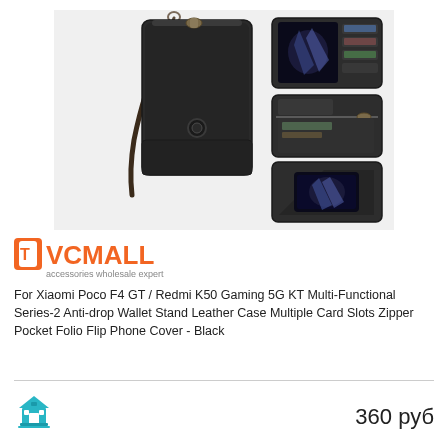[Figure (photo): Product photo of a black leather wallet phone case for Xiaomi Poco F4 GT / Redmi K50 Gaming, showing the closed wallet with wrist strap on the left, and two open views showing card slots, zipper pocket, and phone stand on the right.]
[Figure (logo): TVCMALL logo — orange phone icon with white letter T, followed by orange bold text TVCMALL and smaller gray text 'accessories wholesale expert']
For Xiaomi Poco F4 GT / Redmi K50 Gaming 5G KT Multi-Functional Series-2 Anti-drop Wallet Stand Leather Case Multiple Card Slots Zipper Pocket Folio Flip Phone Cover - Black
[Figure (logo): Small teal/green shop building icon]
360 руб